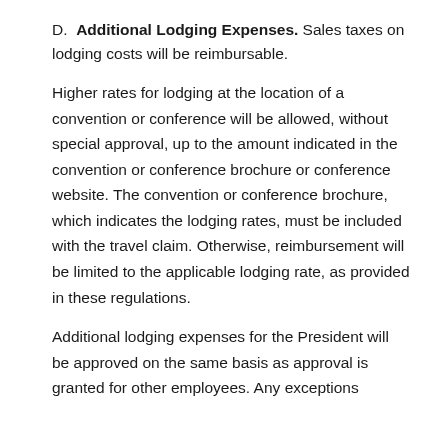D.  Additional Lodging Expenses. Sales taxes on lodging costs will be reimbursable.
Higher rates for lodging at the location of a convention or conference will be allowed, without special approval, up to the amount indicated in the convention or conference brochure or conference website. The convention or conference brochure, which indicates the lodging rates, must be included with the travel claim. Otherwise, reimbursement will be limited to the applicable lodging rate, as provided in these regulations.
Additional lodging expenses for the President will be approved on the same basis as approval is granted for other employees. Any exceptions